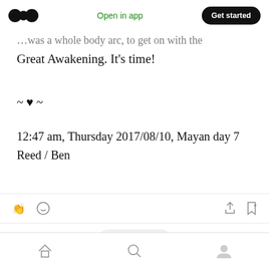Medium logo | Open in app | Get started
...was a whole body arc, to get on with the Great Awakening. It's time!
~ ♥ ~
12:47 am, Thursday 2017/08/10, Mayan day 7 Reed / Ben
Action icons: clap, comment, share, bookmark | Pill bar with clap and comment | Bottom navigation: home, search, profile